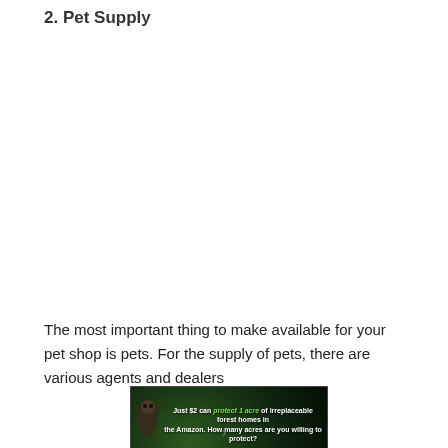2. Pet Supply
The most important thing to make available for your pet shop is pets. For the supply of pets, there are various agents and dealers
[Figure (photo): Advertisement banner with rainforest background, a sloth or similar animal, and text 'Just $2 can protect 1 acre of irreplaceable forest homes in the Amazon. How many acres are you willing to protect?' with a green button labeled 'PROTECT FORESTS NOW']